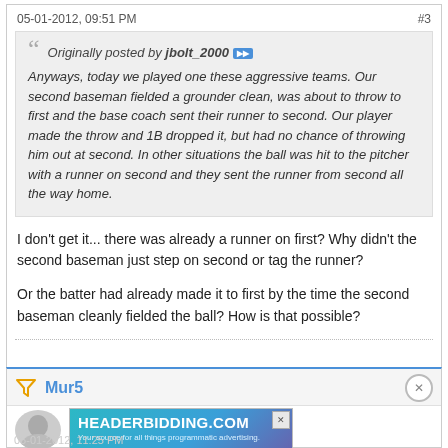05-01-2012, 09:51 PM
#3
Originally posted by jbolt_2000
Anyways, today we played one these aggressive teams. Our second baseman fielded a grounder clean, was about to throw to first and the base coach sent their runner to second. Our player made the throw and 1B dropped it, but had no chance of throwing him out at second. In other situations the ball was hit to the pitcher with a runner on second and they sent the runner from second all the way home.
I don't get it... there was already a runner on first? Why didn't the second baseman just step on second or tag the runner?
Or the batter had already made it to first by the time the second baseman cleanly fielded the ball? How is that possible?
Mur5
Registered User
[Figure (infographic): HEADERBIDDING.COM advertisement banner - Your source for all things programmatic advertising.]